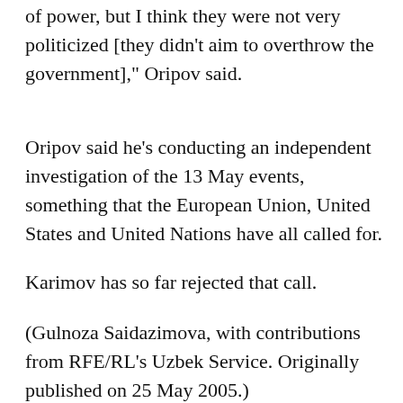of power, but I think they were not very politicized [they didn't aim to overthrow the government]," Oripov said.
Oripov said he's conducting an independent investigation of the 13 May events, something that the European Union, United States and United Nations have all called for.
Karimov has so far rejected that call.
(Gulnoza Saidazimova, with contributions from RFE/RL's Uzbek Service. Originally published on 25 May 2005.)